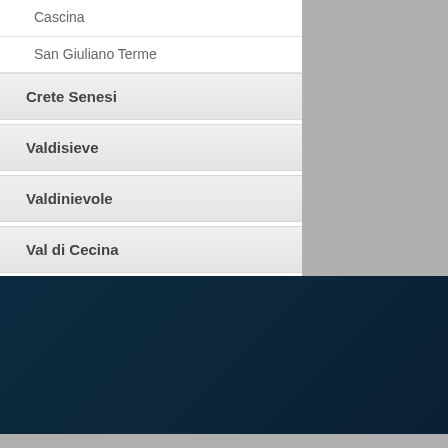Cascina
San Giuliano Terme
Crete Senesi
Valdisieve
Valdinievole
Val di Cecina
Valdera
Amiata
Costa degli Etruschi